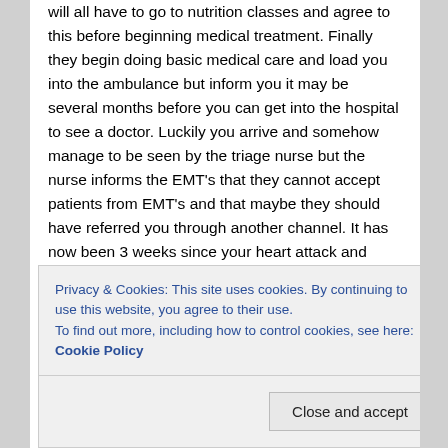will all have to go to nutrition classes and agree to this before beginning medical treatment. Finally they begin doing basic medical care and load you into the ambulance but inform you it may be several months before you can get into the hospital to see a doctor. Luckily you arrive and somehow manage to be seen by the triage nurse but the nurse informs the EMT's that they cannot accept patients from EMT's and that maybe they should have referred you through another channel. It has now been 3 weeks since your heart attack and yo9u still haven't seen a doctor. Finally the triage nurse sees you and asks you to fill in 30 pages of questions. You, in great pain, manage to do this and hand it to the nurse. You then wait in the waiting room for the next  5 months while you're in cardiac distress. So 5 months later you see the doctor and she asks you to fill
Privacy & Cookies: This site uses cookies. By continuing to use this website, you agree to their use.
To find out more, including how to control cookies, see here: Cookie Policy
You make it the 8 months and are barely arrive only to be